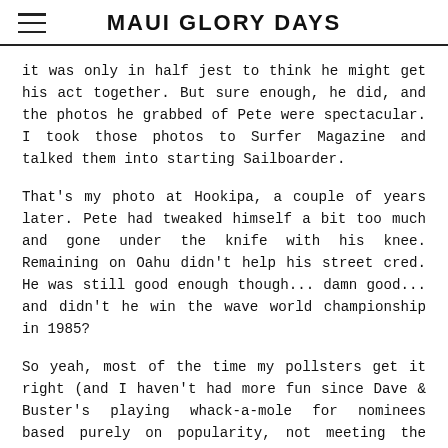MAUI GLORY DAYS
it was only in half jest to think he might get his act together. But sure enough, he did, and the photos he grabbed of Pete were spectacular. I took those photos to Surfer Magazine and talked them into starting Sailboarder.
That's my photo at Hookipa, a couple of years later. Pete had tweaked himself a bit too much and gone under the knife with his knee. Remaining on Oahu didn't help his street cred. He was still good enough though... damn good... and didn't he win the wave world championship in 1985?
So yeah, most of the time my pollsters get it right (and I haven't had more fun since Dave & Buster's playing whack-a-mole for nominees based purely on popularity, not meeting the criteria). As for Pete... he's polling at number 11 right behind a guy I never heard of but hey, I'm an old schooler. It could be that his journey to the dark side threw a shadow on his popularity. Then again, some need to bone up on their